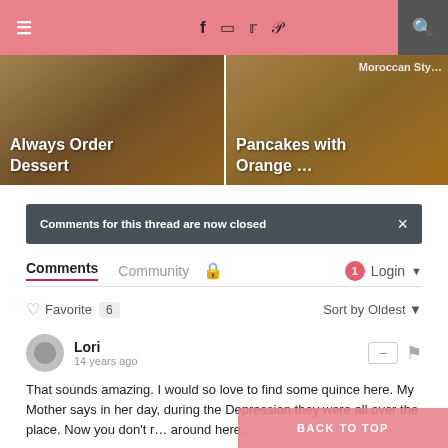≡  f  [instagram]  [twitter]  [pinterest]  [search]
[Figure (photo): Two food blog article thumbnails: left shows pastry with text 'Always Order Dessert', right shows pancakes with text 'Moroccan Style Pancakes with Orange ...']
Comments for this thread are now closed ×
Comments  Community  🔒  1  Login ▾
♡ Favorite  6   Sort by Oldest ▾
Lori
14 years ago
That sounds amazing. I would so love to find some quince here. My Mother says in her day, during the Depression they were all over the place. Now you don't run around here.
BACK TO TOP